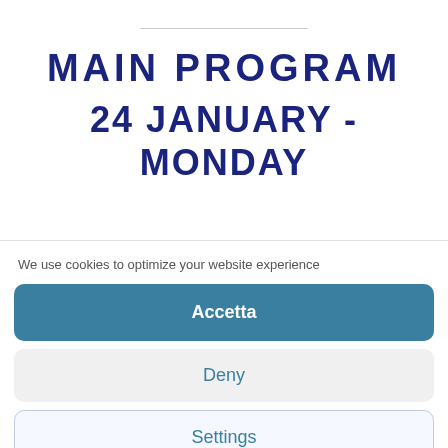MAIN PROGRAM
24 JANUARY - MONDAY
We use cookies to optimize your website experience
Accetta
Deny
Settings
Cookie Policy